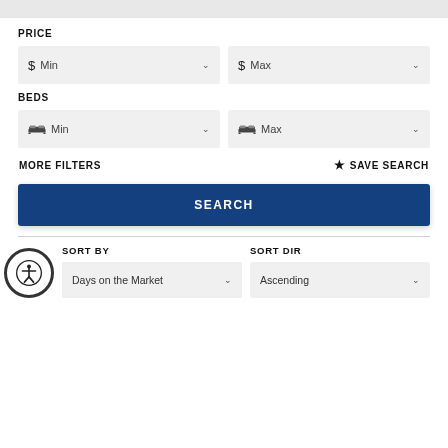[Figure (screenshot): Top grey bar representing a UI element above the filter panel]
PRICE
[Figure (screenshot): Price filter row with two dropdowns: Min and Max dollar amount selectors]
BEDS
[Figure (screenshot): Beds filter row with two dropdowns: Min and Max bed count selectors]
MORE FILTERS
★ SAVE SEARCH
[Figure (screenshot): Blue SEARCH button]
SORT BY
SORT DIR
[Figure (screenshot): Sort By dropdown showing Days on the Market and Sort Dir dropdown showing Ascending, with accessibility icon button overlay]